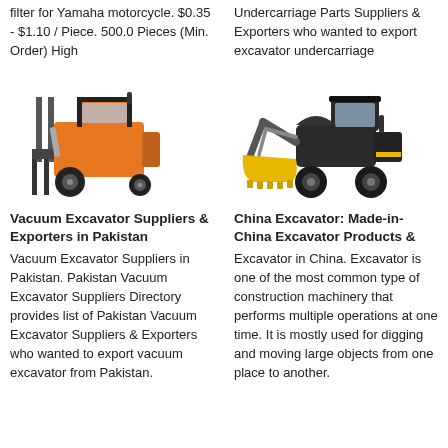filter for Yamaha motorcycle. $0.35 - $1.10 / Piece. 500.0 Pieces (Min. Order) High
Undercarriage Parts Suppliers & Exporters who wanted to export excavator undercarriage
[Figure (photo): Orange and black forklift truck]
[Figure (photo): Yellow and black wheel loader / front loader construction machine]
Vacuum Excavator Suppliers & Exporters in Pakistan
China Excavator: Made-in-China Excavator Products &
Vacuum Excavator Suppliers in Pakistan. Pakistan Vacuum Excavator Suppliers Directory provides list of Pakistan Vacuum Excavator Suppliers & Exporters who wanted to export vacuum excavator from Pakistan.
Excavator in China. Excavator is one of the most common type of construction machinery that performs multiple operations at one time. It is mostly used for digging and moving large objects from one place to another.